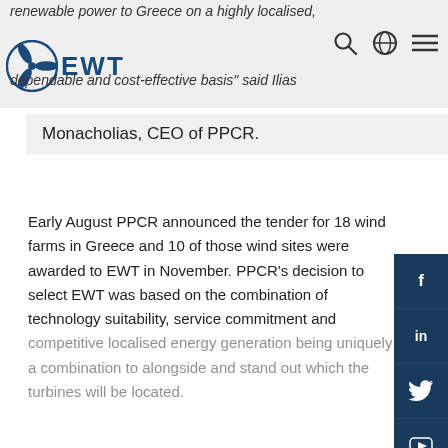renewable power to Greece on a highly localised, dependable and cost-effective basis" said Ilias
[Figure (logo): EWT logo with circular wind turbine icon and EWT text in blue]
Monacholias, CEO of PPCR.
Early August PPCR announced the tender for 18 wind farms in Greece and 10 of those wind sites were awarded to EWT in November. PPCR’s decision to select EWT was based on the combination of technology suitability, service commitment and competitive localised energy generation being uniquely a combination to alongside and stand out which the turbines will be located.
We use cookies to enhance your experience. By continuing to visit this site you agree to our use of cookies. Read more
Yes, I agree
PPCR and EWT share a strong desire to provide today’s best solutions to the communities of Greece, and EWT’s product and service innovations have been designed to meet both the highest